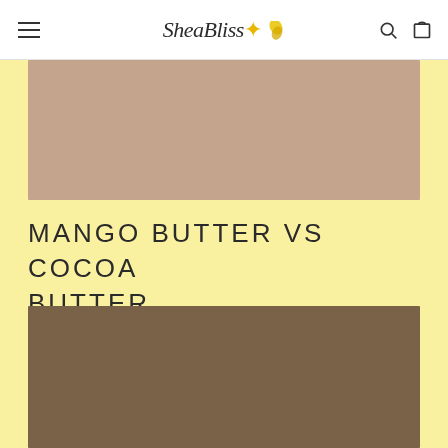SheaBliss
[Figure (photo): Top image showing a muted pinkish-brown mango butter colored background, cropped product or ingredient photo]
MANGO BUTTER VS COCOA BUTTER
[Figure (photo): Bottom image showing a dark brownish cocoa butter colored background, cropped product or ingredient photo]